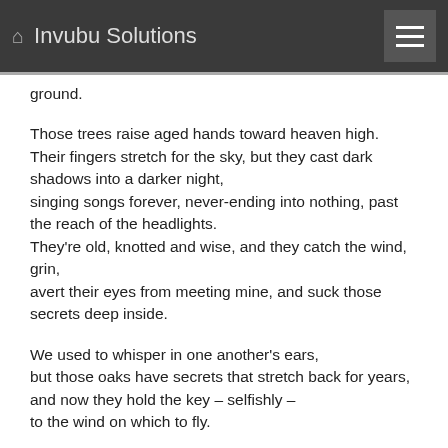Invubu Solutions
ground.

Those trees raise aged hands toward heaven high.
Their fingers stretch for the sky, but they cast dark shadows into a darker night,
singing songs forever, never-ending into nothing, past the reach of the headlights.
They're old, knotted and wise, and they catch the wind, grin,
avert their eyes from meeting mine, and suck those secrets deep inside.

We used to whisper in one another's ears,
but those oaks have secrets that stretch back for years,
and now they hold the key – selfishly –
to the wind on which to fly.

We set you on the highway,